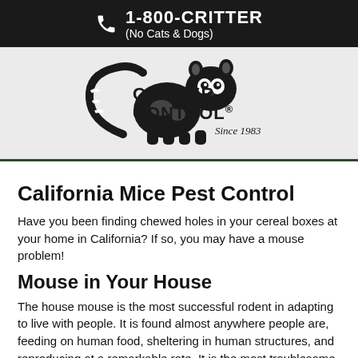1-800-CRITTER (No Cats & Dogs)
[Figure (logo): Critter Control logo with raccoon illustration and text 'Since 1983']
California Mice Pest Control
Have you been finding chewed holes in your cereal boxes at your home in California? If so, you may have a mouse problem!
Mouse in Your House
The house mouse is the most successful rodent in adapting to live with people. It is found almost anywhere people are, feeding on human food, sheltering in human structures, and reproducing at a remarkable rate. It is the most troublesome and economically important vertebrate pest